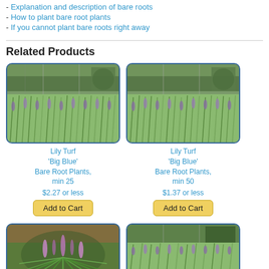- Explanation and description of bare roots
- How to plant bare root plants
- If you cannot plant bare roots right away
Related Products
[Figure (photo): Photo of Lily Turf Big Blue ground cover plants in nursery field]
Lily Turf 'Big Blue' Bare Root Plants, min 25
$2.27 or less
[Figure (photo): Photo of Lily Turf Big Blue ground cover plants in nursery field]
Lily Turf 'Big Blue' Bare Root Plants, min 50
$1.37 or less
[Figure (photo): Photo of individual Lily Turf plant with flowers]
[Figure (photo): Photo of Lily Turf plants in nursery field]